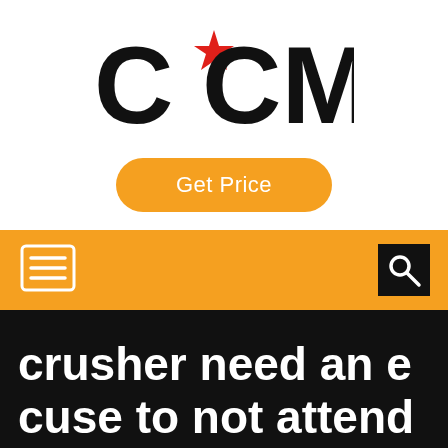[Figure (logo): CCM logo with red star replacing the dot between C and C, bold black text on white background]
Get Price
[Figure (screenshot): Orange navigation bar with hamburger menu icon on the left and black search icon on the right]
crusher need an e cuse to not attend meeting